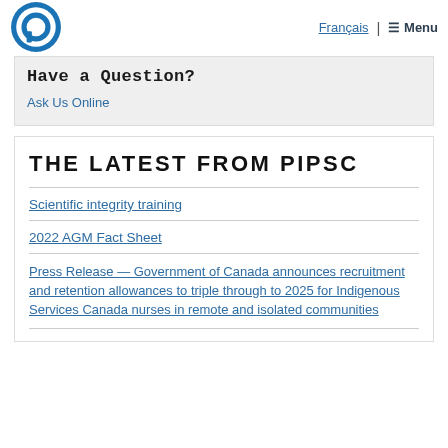Français | ☰ Menu
Have a Question?
Ask Us Online
THE LATEST FROM PIPSC
Scientific integrity training
2022 AGM Fact Sheet
Press Release — Government of Canada announces recruitment and retention allowances to triple through to 2025 for Indigenous Services Canada nurses in remote and isolated communities